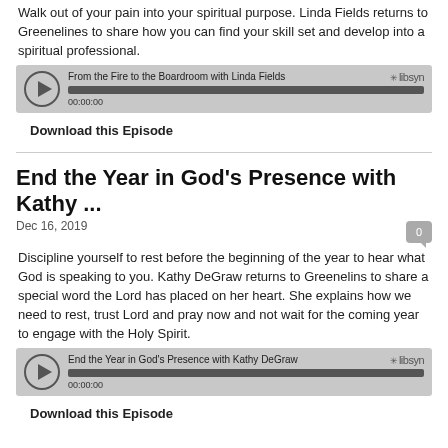Walk out of your pain into your spiritual purpose. Linda Fields returns to Greenelines to share how you can find your skill set and develop into a spiritual professional.
[Figure (other): Libsyn podcast player for 'From the Fire to the Boardroom with Linda Fields', showing play button, progress bar at 00:00:00, and Libsyn logo]
Download this Episode
End the Year in God's Presence with Kathy ...
Dec 16, 2019
Discipline yourself to rest before the beginning of the year to hear what God is speaking to you. Kathy DeGraw returns to Greenelins to share a special word the Lord has placed on her heart. She explains how we need to rest, trust Lord and pray now and not wait for the coming year to engage with the Holy Spirit.
[Figure (other): Libsyn podcast player for 'End the Year in God's Presence with Kathy DeGraw', showing play button, progress bar at 00:00:00, and Libsyn logo]
Download this Episode